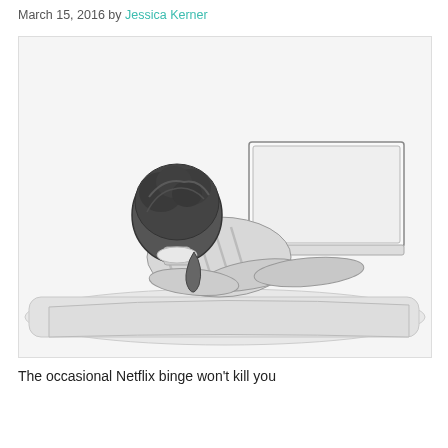March 15, 2016 by Jessica Kerner
[Figure (illustration): Pencil sketch of a person lying on a couch/bed viewed from behind, watching a laptop screen. The figure has dark curly/wavy hair and is wearing a striped shirt. The laptop is open on the surface in front of them.]
The occasional Netflix binge won't kill you